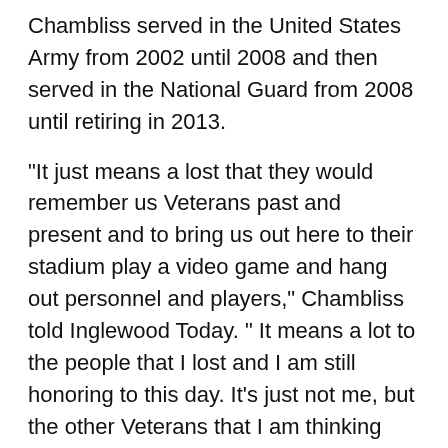Chambliss served in the United States Army from 2002 until 2008 and then served in the National Guard from 2008 until retiring in 2013.
“It just means a lost that they would remember us Veterans past and present and to bring us out here to their stadium play a video game and hang out personnel and players,” Chambliss told Inglewood Today. “ It means a lot to the people that I lost and I am still honoring to this day. It’s just not me, but the other Veterans that I am thinking about who past away, its just an opportunity that I am getting that he’s not and we all made that sacrifice.”
He continued; “It’s just gratitude, it just thankful. Feel like you’re appreciated and words can’t explain what they are doing for us today.”
The Rams invited two veterans with the Wounded Warrior